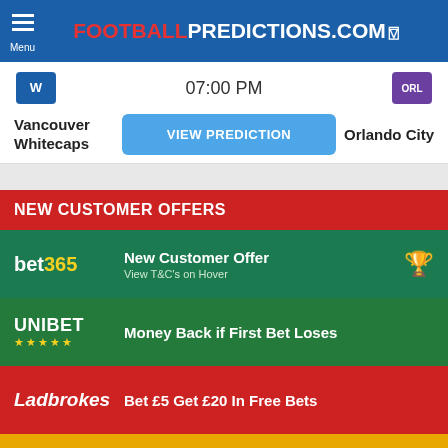FOOTBALLPREDICTIONS.COM
07:00 PM
Vancouver Whitecaps
VIEW PREDICTION
Orlando City
NEW CUSTOMER OFFERS
bet365 — New Customer Offer — View T&C's on Hover
UNIBET — Money Back if First Bet Loses
Ladbrokes — Bet £5 Get £20 In Free Bets
betfair — Get up to £100 in Free Bets